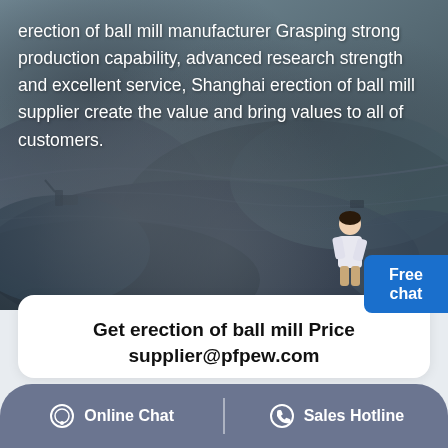[Figure (photo): Aerial view of an open-pit mining site with rocky terrain, heavy machinery visible, dark blue-grey tones]
erection of ball mill manufacturer Grasping strong production capability, advanced research strength and excellent service, Shanghai erection of ball mill supplier create the value and bring values to all of customers.
Free chat
Get erection of ball mill Price
supplier@pfpew.com
Products: Please Select!
Capacity: >100 TPH   >50 TPH   >30 TPH
Online Chat
Sales Hotline